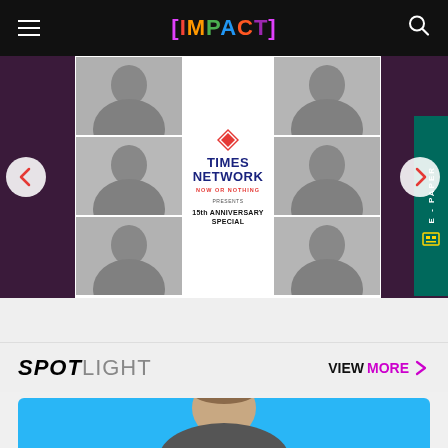[IMPACT]
[Figure (photo): Times Network 15th Anniversary Special promotional banner showing a collage of black and white portraits of media personalities arranged around a central Times Network logo with text 'NOW OR NOTHING PRESENTS 15TH ANNIVERSARY SPECIAL']
SPOTLIGHT   VIEW MORE
[Figure (photo): Portrait photo of a man on a cyan/blue background, cropped at the bottom of the page]